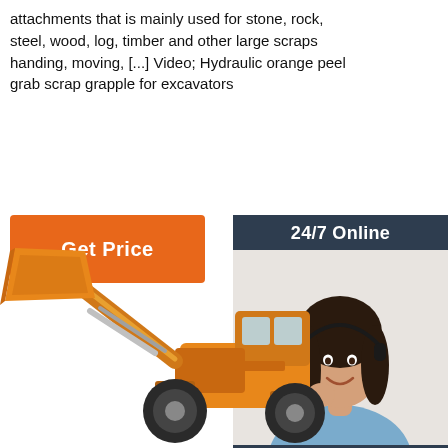attachments that is mainly used for stone, rock, steel, wood, log, timber and other large scraps handing, moving, [...] Video; Hydraulic orange peel grab scrap grapple for excavators
[Figure (other): Orange 'Get Price' button]
[Figure (other): Customer service sidebar widget with '24/7 Online' header, photo of a woman wearing a headset smiling, 'Click here for free chat!' text, and an orange QUOTATION button]
[Figure (photo): Orange wheel loader / front loader construction machine with raised bucket arm against white background]